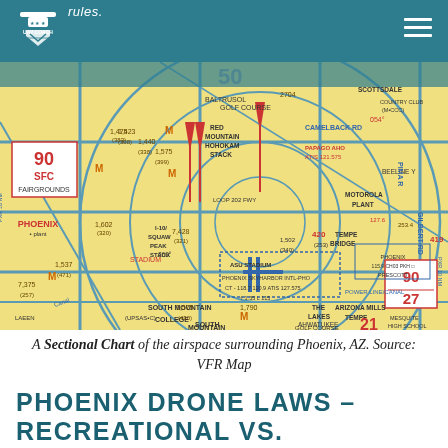UAV COACH rules.
[Figure (map): A Sectional Chart (VFR aeronautical map) of the airspace surrounding Phoenix, AZ showing Phoenix Sky Harbor International Airport, airspace class boundaries, altitude restrictions including 90/SFC Fairgrounds zone, various landmarks such as South Mountain, Papago AHO, Motorola Plant, Tempe Bridge, ASU Stadium, and surrounding areas including Scottsdale, Camelback RD, Gilbert RD, and Ahwatukee Golf Course. Features blue airspace rings, magenta and blue navigation markings, and yellow terrain coloring.]
A Sectional Chart of the airspace surrounding Phoenix, AZ. Source: VFR Map
PHOENIX DRONE LAWS – RECREATIONAL VS.